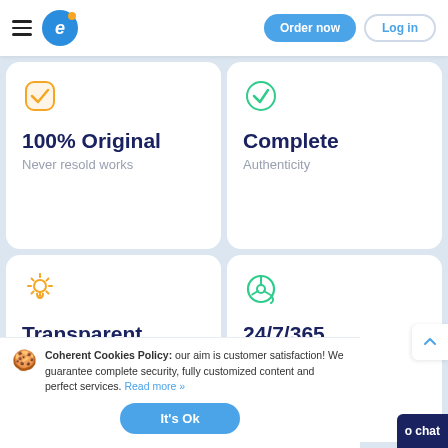Order now | Log in
100% Original
Never resold works
Complete
Authenticity
Transparent
No hidden charges
24/7/365
Live support
Coherent Cookies Policy: our aim is customer satisfaction! We guarantee complete security, fully customized content and perfect services. Read more »
It's Ok